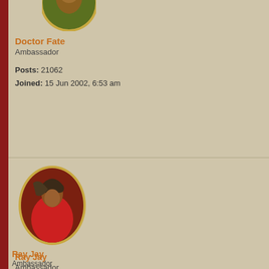[Figure (illustration): Avatar image of Doctor Fate character, partially visible at top, circular with gold border]
Doctor Fate
Ambassador
Posts: 21062
Joined: 15 Jun 2002, 6:53 am
[Figure (illustration): Avatar image of Ray Jay character, circular with gold border, figure in red cloak with dark headwear]
Ray Jay
Ambassador
Posts: 4946
Joined: 08 Jun 2000, 10:26 am
15 Sep 2016, 12:32 pm
Doctor Fate wrote:
Ray Jay wrote:
Doctor Fate wrote:
Thank you, George for ru...
Congratulations to France...
I played a weak, indecisiv...
That sums it up.
Excellent EOG